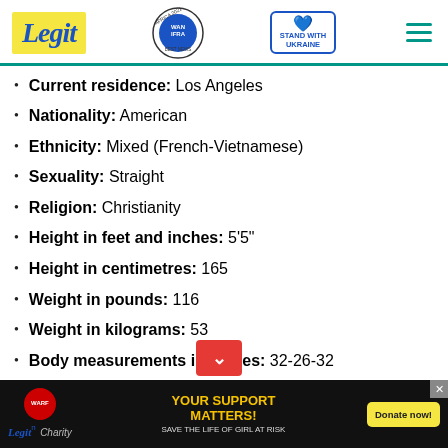Legit — WAN IFRA Best News Website in Africa 2021 — Stand with Ukraine
Current residence: Los Angeles
Nationality: American
Ethnicity: Mixed (French-Vietnamese)
Sexuality: Straight
Religion: Christianity
Height in feet and inches: 5'5"
Height in centimetres: 165
Weight in pounds: 116
Weight in kilograms: 53
Body measurements in inches: 32-26-32
Body measurements in centimetres: 81-66-81
[Figure (screenshot): Red scroll-down button overlay]
[Figure (infographic): Legit Charity ad banner: YOUR SUPPORT MATTERS! SAVE THE LIFE OF GIRL AT RISK — Donate now!]